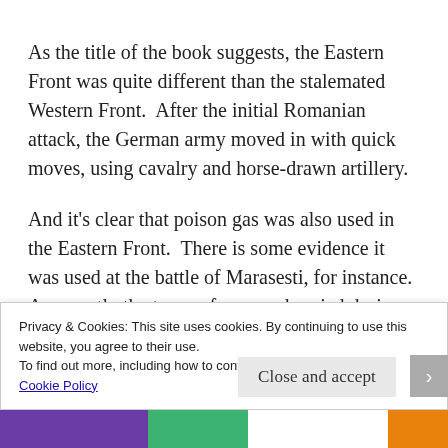As the title of the book suggests, the Eastern Front was quite different than the stalemated Western Front.  After the initial Romanian attack, the German army moved in with quick moves, using cavalry and horse-drawn artillery.
And it's clear that poison gas was also used in the Eastern Front.  There is some evidence it was used at the battle of Marasesti, for instance.  Apparently the types of gas used varied during the war, and there was
Privacy & Cookies: This site uses cookies. By continuing to use this website, you agree to their use.
To find out more, including how to control cookies, see here:
Cookie Policy
Close and accept